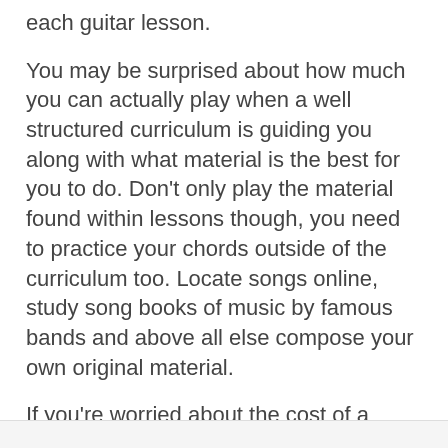each guitar lesson.
You may be surprised about how much you can actually play when a well structured curriculum is guiding you along with what material is the best for you to do. Don't only play the material found within lessons though, you need to practice your chords outside of the curriculum too. Locate songs online, study song books of music by famous bands and above all else compose your own original material.
If you're worried about the cost of a course, consider joining a site on a monthly basis at first. The Creative Guitar Studio monthly membership plan is only $19.95 per month. Starting monthly will help you become familiar with how the course operates and online courses will always be cheaper than private guitar lessons with a personal teacher.